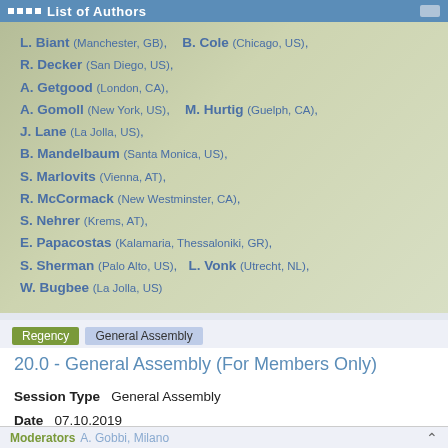List of Authors
L. Biant (Manchester, GB), B. Cole (Chicago, US), R. Decker (San Diego, US), A. Getgood (London, CA), A. Gomoll (New York, US), M. Hurtig (Guelph, CA), J. Lane (La Jolla, US), B. Mandelbaum (Santa Monica, US), S. Marlovits (Vienna, AT), R. McCormack (New Westminster, CA), S. Nehrer (Krems, AT), E. Papacostas (Kalamaria, Thessaloniki, GR), S. Sherman (Palo Alto, US), L. Vonk (Utrecht, NL), W. Bugbee (La Jolla, US)
20.0 - General Assembly (For Members Only)
Session Type   General Assembly
Date   07.10.2019
Time   17:30 - 18:30
Location   Regency
Moderators   A. Gobbi, Milano